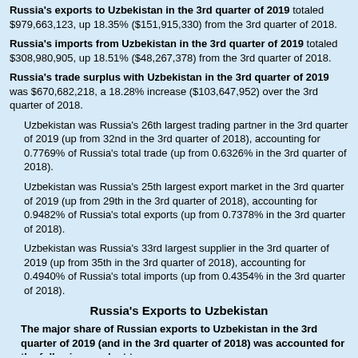Russia's exports to Uzbekistan in the 3rd quarter of 2019 totaled $979,663,123, up 18.35% ($151,915,330) from the 3rd quarter of 2018.
Russia's imports from Uzbekistan in the 3rd quarter of 2019 totaled $308,980,905, up 18.51% ($48,267,378) from the 3rd quarter of 2018.
Russia's trade surplus with Uzbekistan in the 3rd quarter of 2019 was $670,682,218, a 18.28% increase ($103,647,952) over the 3rd quarter of 2018.
Uzbekistan was Russia's 26th largest trading partner in the 3rd quarter of 2019 (up from 32nd in the 3rd quarter of 2018), accounting for 0.7769% of Russia's total trade (up from 0.6326% in the 3rd quarter of 2018).
Uzbekistan was Russia's 25th largest export market in the 3rd quarter of 2019 (up from 29th in the 3rd quarter of 2018), accounting for 0.9482% of Russia's total exports (up from 0.7378% in the 3rd quarter of 2018).
Uzbekistan was Russia's 33rd largest supplier in the 3rd quarter of 2019 (up from 35th in the 3rd quarter of 2018), accounting for 0.4940% of Russia's total imports (up from 0.4354% in the 3rd quarter of 2018).
Russia's Exports to Uzbekistan
The major share of Russian exports to Uzbekistan in the 3rd quarter of 2019 (and in the 3rd quarter of 2018) was accounted for the following product types:
Machinery, equipment and vehicles (HS codes 84-90) - 27.37% of Russia's total exports to Uzbekistan (16.91% in the 3rd quarter of 2018);
Metals and products from them (HS codes 72-83) - 24.45% of Russia's total exports to Uzbekistan (28.55% in the 3rd quarter of 2018);
Wood and wood products (HS codes 44-49) - 15.05% of Russia's total exports to Uzbekistan